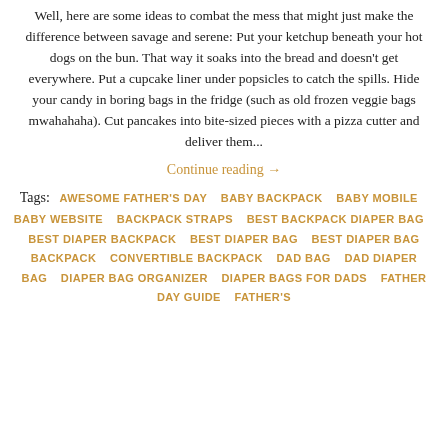Well, here are some ideas to combat the mess that might just make the difference between savage and serene: Put your ketchup beneath your hot dogs on the bun. That way it soaks into the bread and doesn't get everywhere. Put a cupcake liner under popsicles to catch the spills. Hide your candy in boring bags in the fridge (such as old frozen veggie bags mwahahaha). Cut pancakes into bite-sized pieces with a pizza cutter and deliver them...
Continue reading →
Tags: AWESOME FATHER'S DAY   BABY BACKPACK   BABY MOBILE   BABY WEBSITE   BACKPACK STRAPS   BEST BACKPACK DIAPER BAG   BEST DIAPER BACKPACK   BEST DIAPER BAG   BEST DIAPER BAG BACKPACK   CONVERTIBLE BACKPACK   DAD BAG   DAD DIAPER BAG   DIAPER BAG ORGANIZER   DIAPER BAGS FOR DADS   FATHER DAY GUIDE   FATHER'S